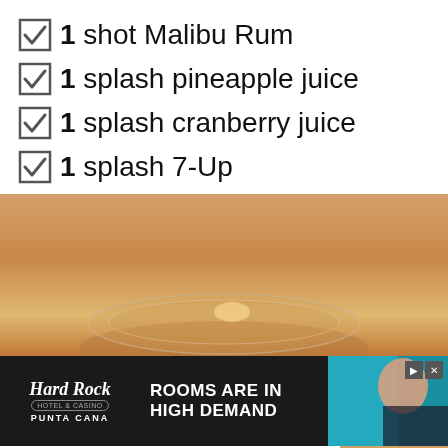1 shot Malibu Rum
1 splash pineapple juice
1 splash cranberry juice
1 splash 7-Up
[Figure (photo): Close-up photo of a cocktail glass on a wooden surface, showing drink from the side at table level]
[Figure (photo): Hard Rock Hotel & Casino Punta Cana advertisement banner with text ROOMS ARE IN HIGH DEMAND and woman photo]
This website uses cookies. By continuing to use this website, you consent to SpoonUniversity.com's usage of cookies and similar technologies Learn more